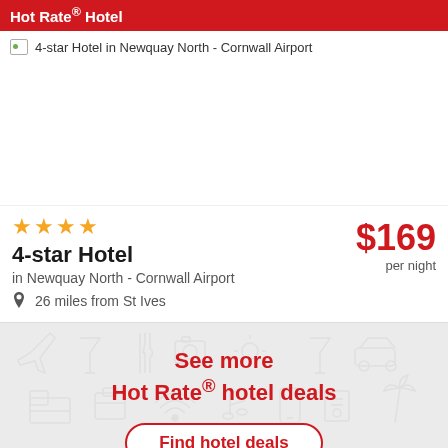Hot Rate® Hotel
[Figure (photo): Hotel image placeholder showing '4-star Hotel in Newquay North - Cornwall Airport' with broken image icon]
4-star Hotel in Newquay North - Cornwall Airport
★★★★
4-star Hotel
in Newquay North - Cornwall Airport
26 miles from St Ives
$169 per night
See more Hot Rate® hotel deals
Find hotel deals